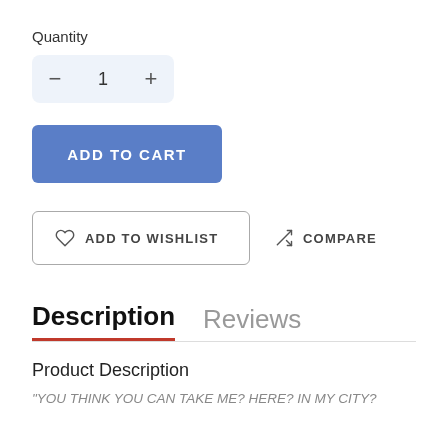Quantity
[Figure (screenshot): Quantity selector with minus button, value 1, and plus button on a light blue-grey background]
[Figure (screenshot): Add to Cart button in blue]
[Figure (screenshot): Add to Wishlist button with heart icon and Compare button with shuffle icon]
Description   Reviews
Product Description
"YOU THINK YOU CAN TAKE ME? HERE? IN MY CITY?